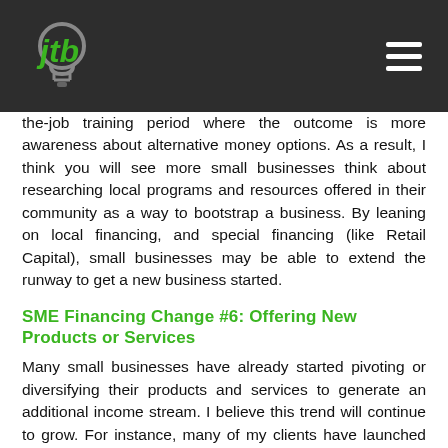jtb logo and navigation header
the-job training period where the outcome is more awareness about alternative money options. As a result, I think you will see more small businesses think about researching local programs and resources offered in their community as a way to bootstrap a business. By leaning on local financing, and special financing (like Retail Capital), small businesses may be able to extend the runway to get a new business started.
SME Financing Change #6: Offering New Products or Services
Many small businesses have already started pivoting or diversifying their products and services to generate an additional income stream. I believe this trend will continue to grow. For instance, many of my clients have launched digital products like e-courses and training webinars to cash in on the increasing popularity of digital learning. Plus